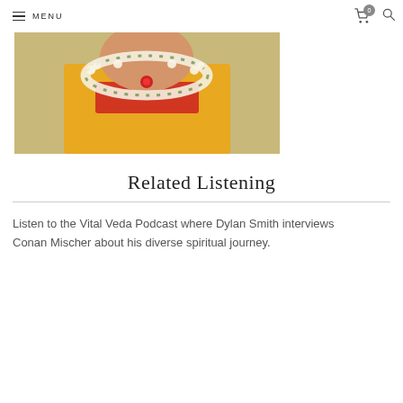MENU
[Figure (photo): A person wearing a yellow shirt with text and a white flower garland with a red rose, photographed from the torso up against a light background.]
Related Listening
Listen to the Vital Veda Podcast where Dylan Smith interviews Conan Mischer about his diverse spiritual journey.